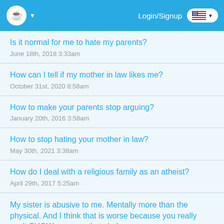Login/Signup
Is it normal for me to hate my parents?
June 18th, 2018 3:33am
How can I tell if my mother in law likes me?
October 31st, 2020 8:58am
How to make your parents stop arguing?
January 20th, 2016 3:58am
How to stop hating your mother in law?
May 30th, 2021 3:38am
How do I deal with a religious family as an atheist?
April 29th, 2017 5:25am
My sister is abusive to me. Mentally more than the physical. And I think that is worse because you really can't SHOW anyone what she's